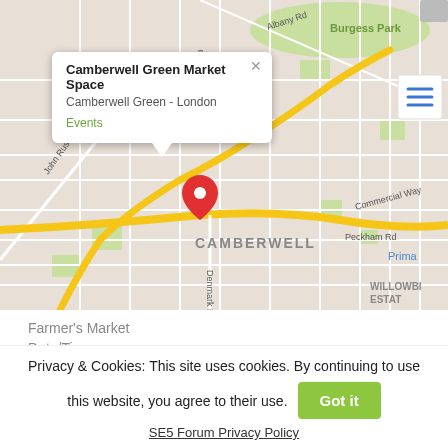[Figure (map): Google Maps screenshot showing Camberwell Green area in London with a location pin at Camberwell Green Market Space, popup info box showing name and Events link, streets including John Ruskin St, Albany Rd, Peckham Rd, Denmark Hill, with Burgess Park and Willowbrook Estate visible]
Farmer's Market
Date/Time
Privacy & Cookies: This site uses cookies. By continuing to use this website, you agree to their use.
Got it
SE5 Forum Privacy Policy